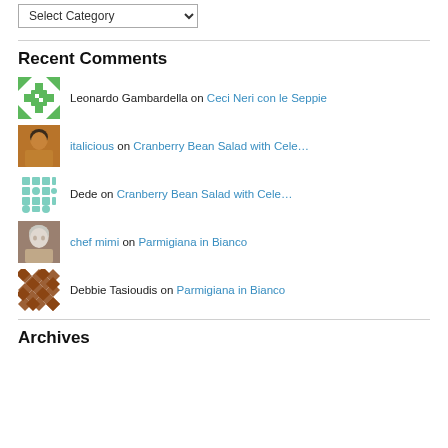Select Category (dropdown)
Recent Comments
Leonardo Gambardella on Ceci Neri con le Seppie
italicious on Cranberry Bean Salad with Cele…
Dede on Cranberry Bean Salad with Cele…
chef mimi on Parmigiana in Bianco
Debbie Tasioudis on Parmigiana in Bianco
Archives